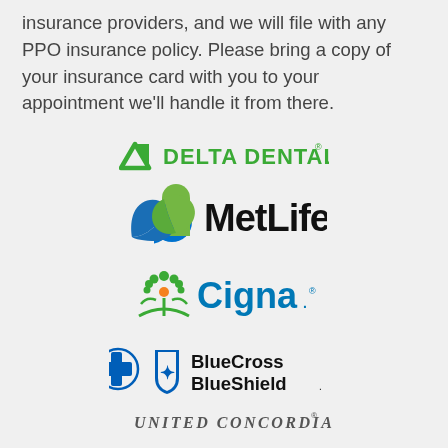insurance providers, and we will file with any PPO insurance policy. Please bring a copy of your insurance card with you to your appointment we'll handle it from there.
[Figure (logo): Delta Dental logo - green triangle icon with 'DELTA DENTAL' text in green]
[Figure (logo): MetLife logo - blue and green swoosh icon with 'MetLife' text in black]
[Figure (logo): Cigna logo - green tree/person icon with 'Cigna.' text in blue]
[Figure (logo): BlueCross BlueShield logo - blue cross and shield icons with 'BlueCross BlueShield.' text]
[Figure (logo): United Concordia logo - partial text visible at bottom reading 'UNITED CONCORDIA']